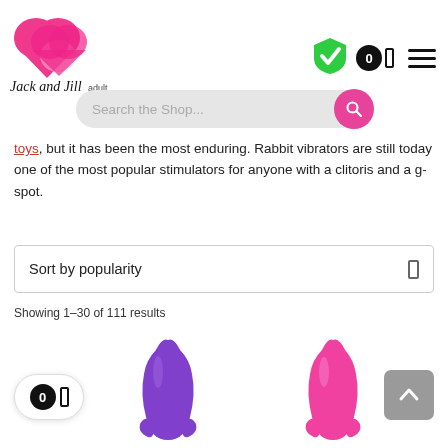Jack and Jill Adult - website header with logo, trust badge, cart icon, and hamburger menu
[Figure (screenshot): Search the Shop... search bar with pink search button]
toys, but it has been the most enduring. Rabbit vibrators are still today one of the most popular stimulators for anyone with a clitoris and a g-spot.
Sort by popularity
Showing 1–30 of 111 results
[Figure (photo): Purple rabbit vibrator product image]
[Figure (photo): Pink rabbit vibrator product image]